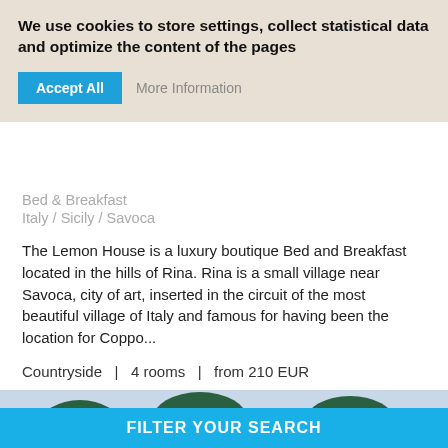We use cookies to store settings, collect statistical data and optimize the content of the pages
Accept All
More Information
Bed & Breakfast
Italy / Sicily / Savoca
The Lemon House is a luxury boutique Bed and Breakfast located in the hills of Rina. Rina is a small village near Savoca, city of art, inserted in the circuit of the most beautiful village of Italy and famous for having been the location for Coppo...
Countryside  |  4 rooms  |  from 210 EUR
VIEW BED & BREAKFAST
[Figure (photo): Outdoor photo showing trees and sky, partially visible]
FILTER YOUR SEARCH